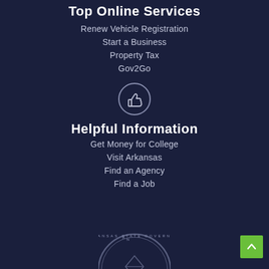Top Online Services
Renew Vehicle Registration
Start a Business
Property Tax
Gov2Go
[Figure (illustration): Thumbs up icon inside a circle outline]
Helpful Information
Get Money for College
Visit Arkansas
Find an Agency
Find a Job
[Figure (logo): Arkansas State Government seal, partially visible at bottom of page]
[Figure (other): Green back-to-top button with upward chevron arrow]